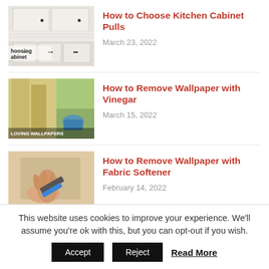[Figure (photo): Kitchen cabinet area with white cabinets and black hardware pulls, text overlay reading 'hoosing abinet']
How to Choose Kitchen Cabinet Pulls
March 23, 2022
[Figure (photo): Wallpaper being removed from wall, yellowish textures, blue gloved hand, text overlay 'LOVING WALLPAPERS']
How to Remove Wallpaper with Vinegar
March 15, 2022
[Figure (photo): Hand using a putty knife/scraper blade to remove wallpaper, blue scraper visible]
How to Remove Wallpaper with Fabric Softener
February 14, 2022
This website uses cookies to improve your experience. We'll assume you're ok with this, but you can opt-out if you wish.
Accept | Reject | Read More